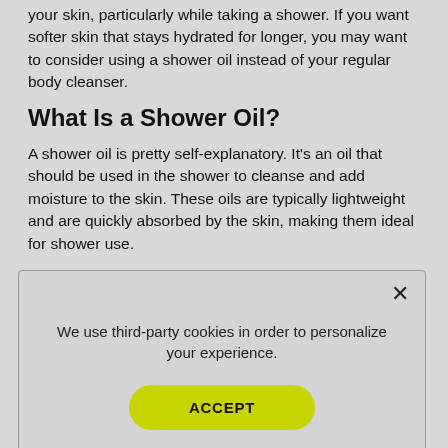your skin, particularly while taking a shower. If you want softer skin that stays hydrated for longer, you may want to consider using a shower oil instead of your regular body cleanser.
What Is a Shower Oil?
A shower oil is pretty self-explanatory. It's an oil that should be used in the shower to cleanse and add moisture to the skin. These oils are typically lightweight and are quickly absorbed by the skin, making them ideal for shower use.
Shower oil can be used on all skin types and is an effective way to cleanse and moisturize the skin. It leaves your skin
We use third-party cookies in order to personalize your experience.
ACCEPT